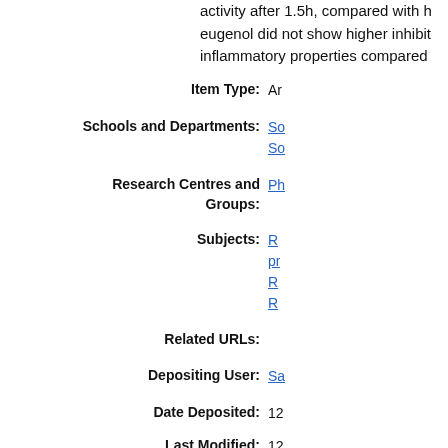activity after 1.5h, compared with h eugenol did not show higher inhibit inflammatory properties compared
Item Type: Ar
Schools and Departments: So So
Research Centres and Groups: Ph
Subjects: R pr R R
Related URLs:
Depositing User: Sa
Date Deposited: 12
Last Modified: 12
URI: ht